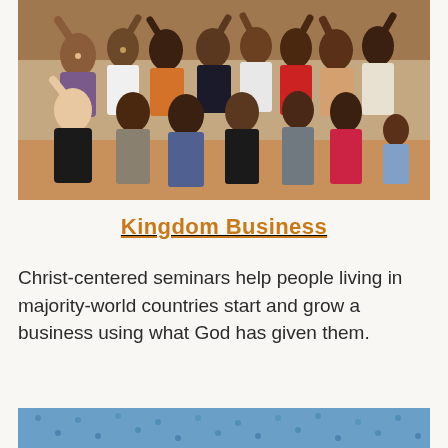[Figure (photo): Group photo of a large gathering of African community members, men, women, and children, along with one Caucasian woman on the far left, all smiling and waving with arms raised, standing outdoors on a dirt ground in front of a brick wall.]
Kingdom Business
Christ-centered seminars help people living in majority-world countries start and grow a business using what God has given them.
[Figure (photo): Partial view of a person wearing blue patterned fabric, cropped at the bottom of the page.]